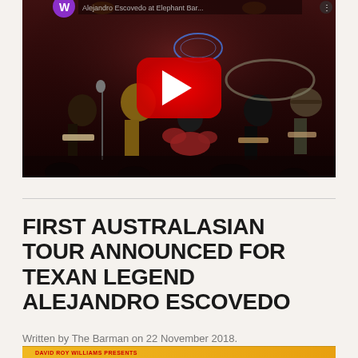[Figure (screenshot): YouTube video thumbnail showing a band performing on stage in a dark venue with red ambient lighting. A YouTube play button (red circle with white triangle) is overlaid in the center. A neon blue guitar sign is visible in the background.]
FIRST AUSTRALASIAN TOUR ANNOUNCED FOR TEXAN LEGEND ALEJANDRO ESCOVEDO
Written by The Barman on 22 November 2018.
[Figure (photo): Partial view of a promotional poster or flyer with yellow/gold background, showing red text starting with 'DAVID ROY WILLIAMS PRESENTS']